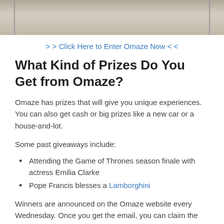[Figure (photo): Partial photo showing a blurred beige/grey background, likely a person or animal, cropped at top]
> > Click Here to Enter Omaze Now < <
What Kind of Prizes Do You Get from Omaze?
Omaze has prizes that will give you unique experiences. You can also get cash or big prizes like a new car or a house-and-lot.
Some past giveaways include:
Attending the Game of Thrones season finale with actress Emilia Clarke
Pope Francis blesses a Lamborghini
Winners are announced on the Omaze website every Wednesday. Once you get the email, you can claim the prize.